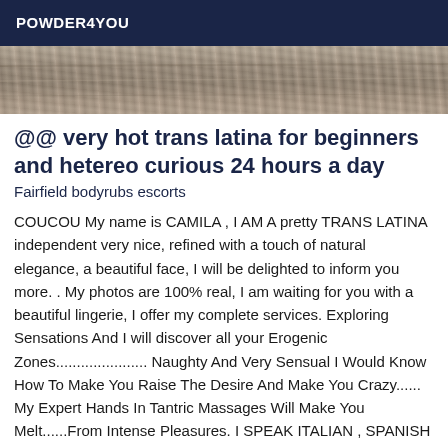POWDER4YOU
[Figure (photo): Close-up photo of animal fur, gray and brown tones, filling the width of the page]
@@ very hot trans latina for beginners and hetereo curious 24 hours a day
Fairfield bodyrubs escorts
COUCOU My name is CAMILA , I AM A pretty TRANS LATINA independent very nice, refined with a touch of natural elegance, a beautiful face, I will be delighted to inform you more. . My photos are 100% real, I am waiting for you with a beautiful lingerie, I offer my complete services. Exploring Sensations And I will discover all your Erogenic Zones...................... Naughty And Very Sensual I Would Know How To Make You Raise The Desire And Make You Crazy...... My Expert Hands In Tantric Massages Will Make You Melt......From Intense Pleasures. I SPEAK ITALIAN , SPANISH AND AMERICAN